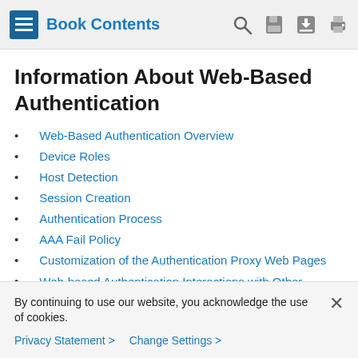Book Contents
Information About Web-Based Authentication
Web-Based Authentication Overview
Device Roles
Host Detection
Session Creation
Authentication Process
AAA Fail Policy
Customization of the Authentication Proxy Web Pages
Web-based Authentication Interactions with Other Features
By continuing to use our website, you acknowledge the use of cookies.
Privacy Statement > Change Settings >